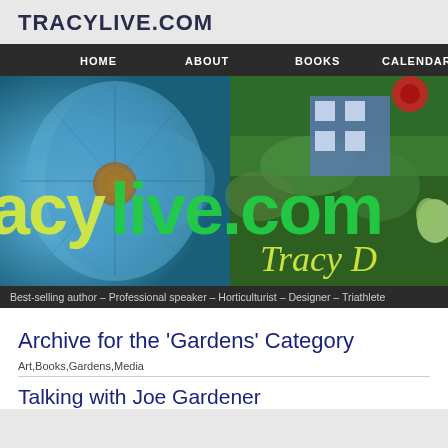TRACYLIVE.COM
[Figure (screenshot): Website navigation bar with dark background showing HOME, ABOUT, BOOKS, CALENDAR, D... menu items]
[Figure (photo): Hero banner image of tracylive.com showing a large blue flower on the left, garden/greenery on the right, with site name 'acy live.com' in large yellow/green text and 'Tracy D' in cursive on the right side]
Best-selling author – Professional speaker – Horticulturist – Designer – Triathlete
Archive for the 'Gardens' Category
Art,Books,Gardens,Media
Talking with Joe Gardener